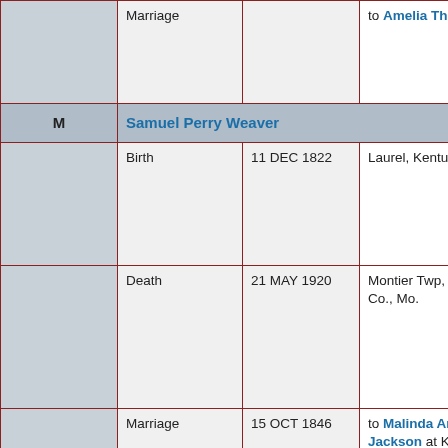|  | Event | Date | Details |
| --- | --- | --- | --- |
|  | Marriage |  | to Amelia Thomas |
| M | Samuel Perry Weaver |  |  |
|  | Birth | 11 DEC 1822 | Laurel, Kentucky, USA |
|  | Death | 21 MAY 1920 | Montier Twp, Shannon Co., Mo. |
|  | Marriage | 15 OCT 1846 | to Malinda Ann Jackson at KY |
| F | Sarah Weaver |  |  |
|  | Birth | 1830 | Laurel, Kentucky, |